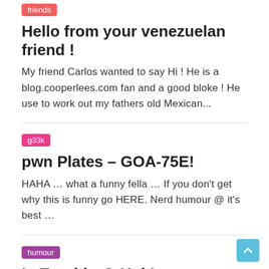friends
Hello from your venezuelan friend !
My friend Carlos wanted to say Hi ! He is a blog.cooperlees.com fan and a good bloke ! He use to work out my fathers old Mexican...
g33k
pwn Plates – GOA-75E!
HAHA … what a funny fella … If you don't get why this is funny go HERE. Nerd humour @ it's best …
humour
In Trouble @ Uni !
Look @ what friends and I got in trouble for today !